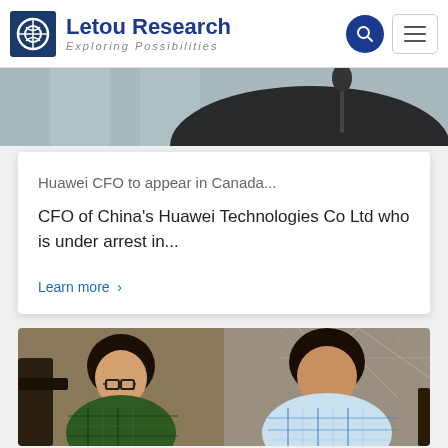Letou Research — Exploring Possibilities
[Figure (photo): Partial hero image background showing a person near a microphone, partially cropped]
Huawei CFO to appear in Canada...
CFO of China's Huawei Technologies Co Ltd who is under arrest in...
Learn more >
[Figure (photo): Two young Asian men sitting and looking downward, one wearing glasses and a green plaid shirt on the left, one in a blue plaid shirt on the right]